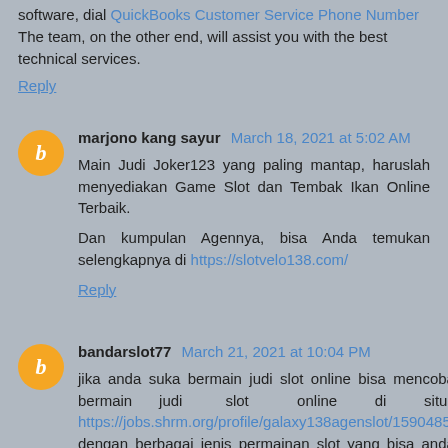software, dial QuickBooks Customer Service Phone Number The team, on the other end, will assist you with the best technical services.
Reply
marjono kang sayur  March 18, 2021 at 5:02 AM
Main Judi Joker123 yang paling mantap, haruslah menyediakan Game Slot dan Tembak Ikan Online Terbaik.

Dan kumpulan Agennya, bisa Anda temukan selengkapnya di https://slotvelo138.com/
Reply
bandarslot77  March 21, 2021 at 10:04 PM
jika anda suka bermain judi slot online bisa mencoba bermain judi slot online di situs https://jobs.shrm.org/profile/galaxy138agenslot/1590485/ dengan berbagai jenis permainan slot yang bisa anda mainkan dengan lancar dan aman setiap hari ditambah